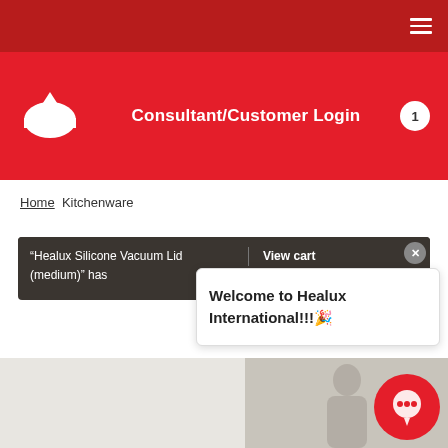Hamburger menu icon
[Figure (logo): Healux International logo - white tent/arch shape on red background]
Consultant/Customer Login
1 (cart badge)
Home > Kitchenware
“Healux Silicone Vacuum Lid (medium)” has been added to your cart. | View cart
Welcome to Healux International!!!🎉
[Figure (photo): Woman in kitchen setting, partial view at bottom of page]